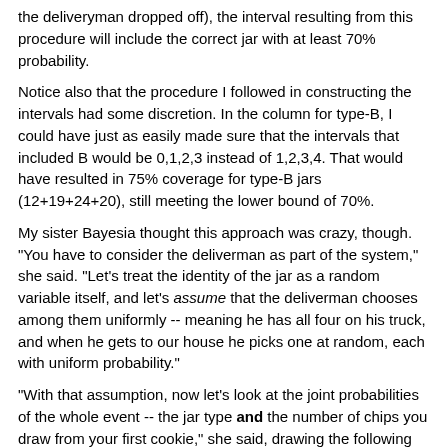the deliveryman dropped off), the interval resulting from this procedure will include the correct jar with at least 70% probability.
Notice also that the procedure I followed in constructing the intervals had some discretion. In the column for type-B, I could have just as easily made sure that the intervals that included B would be 0,1,2,3 instead of 1,2,3,4. That would have resulted in 75% coverage for type-B jars (12+19+24+20), still meeting the lower bound of 70%.
My sister Bayesia thought this approach was crazy, though. "You have to consider the deliverman as part of the system," she said. "Let's treat the identity of the jar as a random variable itself, and let's assume that the deliverman chooses among them uniformly -- meaning he has all four on his truck, and when he gets to our house he picks one at random, each with uniform probability."
"With that assumption, now let's look at the joint probabilities of the whole event -- the jar type and the number of chips you draw from your first cookie," she said, drawing the following table:
| P( jar ∩ chips ) | A | B | C | D | total |
| --- | --- | --- | --- | --- | --- |
| 0 | 1/4 | 12/4 | 13/4 | 27/4 | 13.25% |